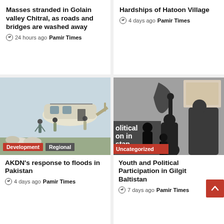Masses stranded in Golain valley Chitral, as roads and bridges are washed away
24 hours ago  Pamir Times
Hardships of Hatoon Village
4 days ago  Pamir Times
[Figure (photo): People loading supplies onto a helicopter, with sacks of goods in the foreground. Tags: Development, Regional.]
[Figure (photo): Silhouettes of people raising fists in protest, with partial text overlay reading 'olitical on in stan' and 'red Zafar Ali'. Tag: Uncategorized.]
AKDN's response to floods in Pakistan
4 days ago  Pamir Times
Youth and Political Participation in Gilgit Baltistan
7 days ago  Pamir Times